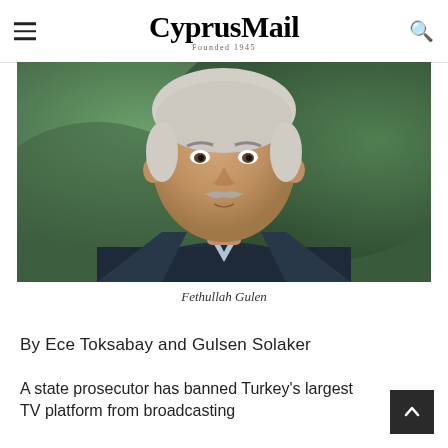CyprusMail Founded 1945
[Figure (photo): Portrait photograph of Fethullah Gulen, an older man with white hair and a grey mustache, wearing a dark navy jacket over a light blue shirt, photographed outdoors with a green blurred background.]
Fethullah Gulen
By Ece Toksabay and Gulsen Solaker
A state prosecutor has banned Turkey's largest TV platform from broadcasting